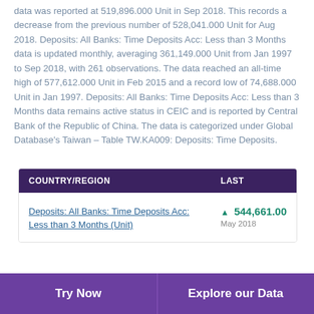data was reported at 519,896.000 Unit in Sep 2018. This records a decrease from the previous number of 528,041.000 Unit for Aug 2018. Deposits: All Banks: Time Deposits Acc: Less than 3 Months data is updated monthly, averaging 361,149.000 Unit from Jan 1997 to Sep 2018, with 261 observations. The data reached an all-time high of 577,612.000 Unit in Feb 2015 and a record low of 74,688.000 Unit in Jan 1997. Deposits: All Banks: Time Deposits Acc: Less than 3 Months data remains active status in CEIC and is reported by Central Bank of the Republic of China. The data is categorized under Global Database's Taiwan – Table TW.KA009: Deposits: Time Deposits.
| COUNTRY/REGION | LAST |
| --- | --- |
| Deposits: All Banks: Time Deposits Acc: Less than 3 Months (Unit) | ▲ 544,661.00
May 2018 |
Try Now    Explore our Data